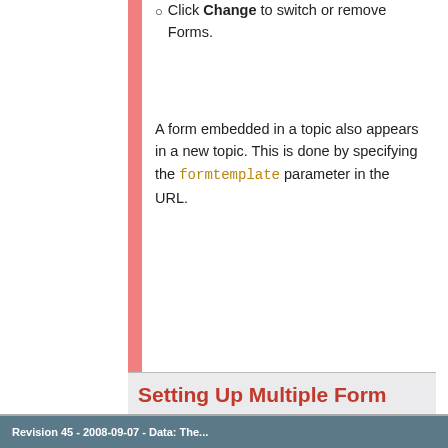Click Change to switch or remove Forms.
A form embedded in a topic also appears in a new topic. This is done by specifying the formtemplate parameter in the URL.
Setting Up Multiple Form Options
The optional WEBFORMS variable defines alternative forms that can be selected by pressing Change in edit mode.
Revision 45 - 2008-09-07 - Data: The...